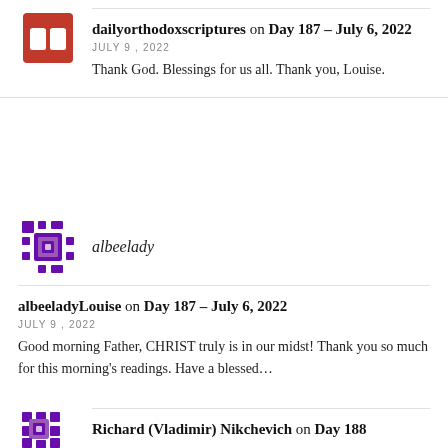[Figure (logo): Red and white avatar icon with open book, for dailyorthodoxscriptures]
dailyorthodoxscriptures on Day 187 – July 6, 2022
JULY 9, 2022
Thank God. Blessings for us all. Thank you, Louise.
[Figure (logo): Purple pixel/mosaic style avatar for albeelady]
albeelady
albeeladyLouise on Day 187 – July 6, 2022
JULY 9, 2022
Good morning Father, CHRIST truly is in our midst! Thank you so much for this morning's readings. Have a blessed…
[Figure (logo): Purple pixel avatar for Richard (Vladimir) Nikchevich]
Richard (Vladimir) Nikchevich on Day 188